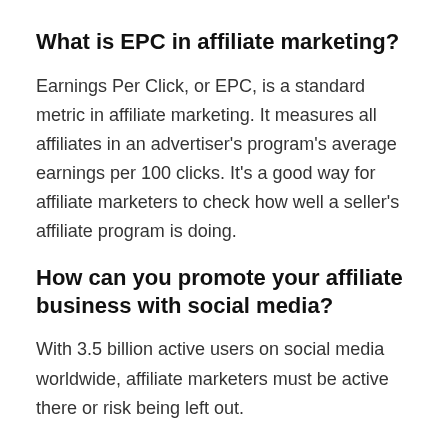What is EPC in affiliate marketing?
Earnings Per Click, or EPC, is a standard metric in affiliate marketing. It measures all affiliates in an advertiser's program's average earnings per 100 clicks. It's a good way for affiliate marketers to check how well a seller's affiliate program is doing.
How can you promote your affiliate business with social media?
With 3.5 billion active users on social media worldwide, affiliate marketers must be active there or risk being left out.
However, before you start advertising on social media, you need to figure out which platforms your target